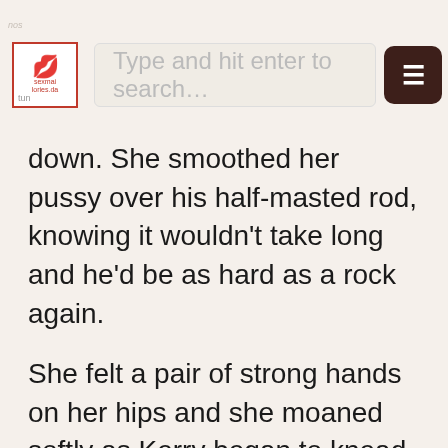Type and hit enter to search...
down. She smoothed her pussy over his half-masted rod, knowing it wouldn't take long and he'd be as hard as a rock again.
She felt a pair of strong hands on her hips and she moaned softly as Kerry began to knead her derriere. She pushed back into his caress and hissed when he dragged a finger down her ass cheeks and then up the crack. "He...